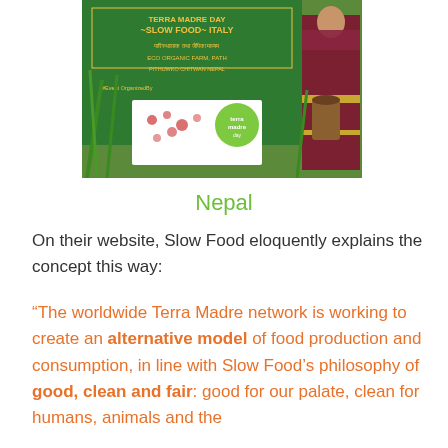[Figure (photo): Photo of a woman in traditional South Asian clothing standing in front of a green banner reading 'SLOW FOOD ITALY' and 'ECO ORGANIC FARM' with a Terra Madre Day banner in front, surrounded by green plants/rice fields.]
Nepal
On their website, Slow Food eloquently explains the concept this way:
“The worldwide Terra Madre network is working to create an alternative model of food production and consumption, in line with Slow Food’s philosophy of good, clean and fair: good for our palate, clean for humans, animals and the